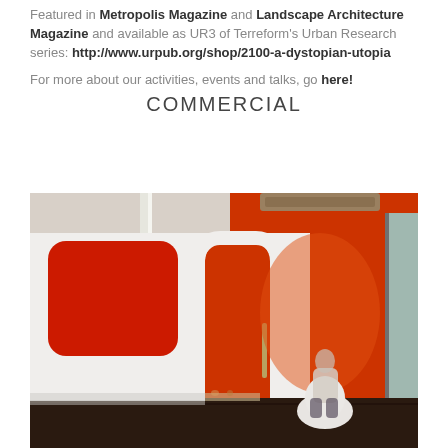Featured in Metropolis Magazine and Landscape Architecture Magazine and available as UR3 of Terreform's Urban Research series: http://www.urpub.org/shop/2100-a-dystopian-utopia
For more about our activities, events and talks, go here!
COMMERCIAL
[Figure (photo): Interior commercial space with white curved pod/booth structures against an orange-red wall. A person sits in a white egg-shaped chair inside one of the booths. The ceiling has exposed ductwork and a skylight. Dark wood floor.]